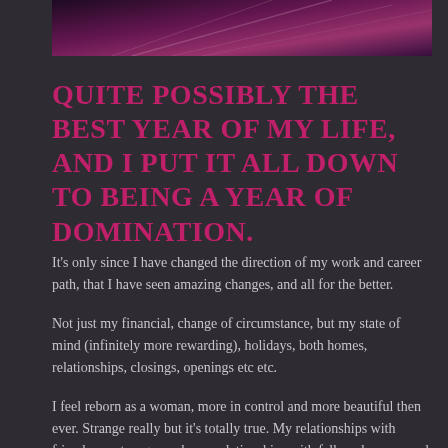[Figure (photo): Partial view of a purple/pink abstract or fashion image at the top of the page]
QUITE POSSIBLY THE BEST YEAR OF MY LIFE, AND I PUT IT ALL DOWN TO BEING A YEAR OF DOMINATION.
It's only since I have changed the direction of my work and career path, that I have seen amazing changes, and all for the better.
Not just my financial, change of circumstance, but my state of mind (infinitely more rewarding), holidays, both homes, relationships, closings, openings etc etc.
I feel reborn as a woman, more in control and more beautiful then ever. Strange really but it's totally true. My relationships with friends are stronger and new relationships with fellow dommes and clients are rewarding.